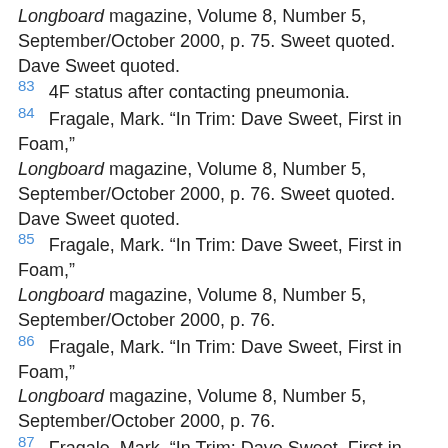[continuation] Longboard magazine, Volume 8, Number 5, September/October 2000, p. 75. Sweet quoted. Dave Sweet quoted.
83  4F status after contacting pneumonia.
84  Fragale, Mark. “In Trim: Dave Sweet, First in Foam,” Longboard magazine, Volume 8, Number 5, September/October 2000, p. 76. Sweet quoted. Dave Sweet quoted.
85  Fragale, Mark. “In Trim: Dave Sweet, First in Foam,” Longboard magazine, Volume 8, Number 5, September/October 2000, p. 76.
86  Fragale, Mark. “In Trim: Dave Sweet, First in Foam,” Longboard magazine, Volume 8, Number 5, September/October 2000, p. 76.
87  Fragale, Mark. “In Trim: Dave Sweet, First in Foam,” Longboard magazine, Volume 8, Number 5, September/October 2000, p. 76.
88  Fragale, Mark. “In Trim: Dave Sweet, First in Foam,” Longboard magazine, Volume 8, Number 5, September/October 2000, p. 77. Sweet quoted.